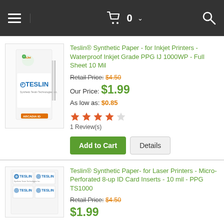Navigation bar with hamburger menu, cart (0), and search icon
Teslin® Synthetic Paper - for Inkjet Printers - Waterproof Inkjet Grade PPG IJ 1000WP - Full Sheet 10 Mil
Retail Price: $4.50
Our Price: $1.99
As low as: $0.85
1 Review(s)
Teslin® Synthetic Paper- for Laser Printers - Micro-Perforated 8-up ID Card Inserts - 10 mil - PPG TS1000
Retail Price: $4.50